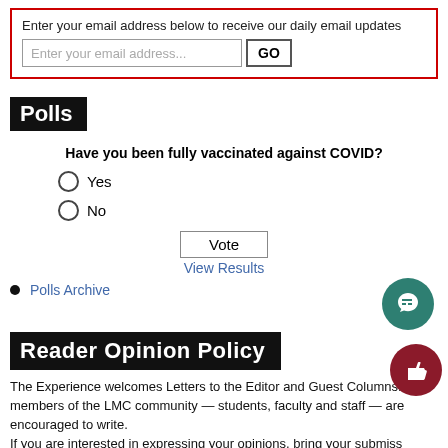Enter your email address below to receive our daily email updates
Polls
Have you been fully vaccinated against COVID?
Yes
No
Polls Archive
Reader Opinion Policy
The Experience welcomes Letters to the Editor and Guest Columns. members of the LMC community — students, faculty and staff — are encouraged to write. If you are interested in expressing your opinions, bring your submissions to room CC3-301. You may also send them electronically through the Experience online website lmcexperience.com.